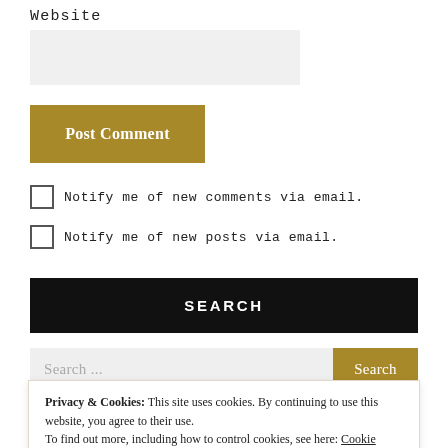Website
[Figure (screenshot): Website input text field (empty, light gray background)]
[Figure (screenshot): Post Comment button in gold/dark-yellow color]
Notify me of new comments via email.
Notify me of new posts via email.
SEARCH
[Figure (screenshot): Search input bar with placeholder text 'Search ...' and a gold Search button]
Privacy & Cookies: This site uses cookies. By continuing to use this website, you agree to their use.
To find out more, including how to control cookies, see here: Cookie Policy
Close and accept